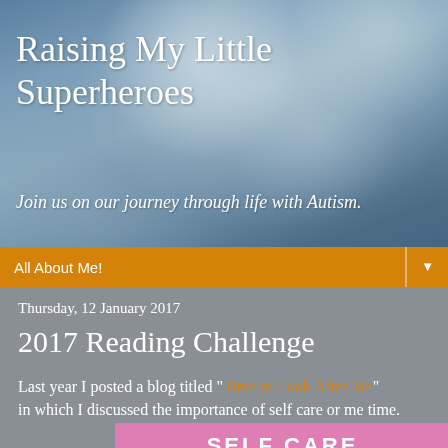Raising My Little Superheroes
Join us on our journey through life with Autism.
All About Me!
Thursday, 12 January 2017
2017 Reading Challenge
Last year I posted a blog titled "Time to Look After Me" in which I discussed the importance of self care or me time.
[Figure (illustration): Pink motivational quote image with white text reading: SELF CARE means giving THE WORLD the best of you]